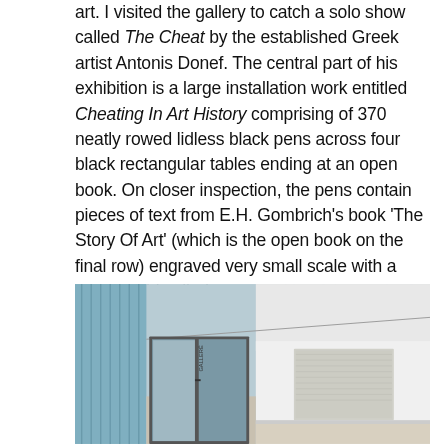art. I visited the gallery to catch a solo show called The Cheat by the established Greek artist Antonis Donef. The central part of his exhibition is a large installation work entitled Cheating In Art History comprising of 370 neatly rowed lidless black pens across four black rectangular tables ending at an open book. On closer inspection, the pens contain pieces of text from E.H. Gombrich's book 'The Story Of Art' (which is the open book on the final row) engraved very small scale with a needle. This alludes to the title of the work of memorising parrot-fashion style segments of information rather than fully understanding and absorbing it.
[Figure (photo): Interior photograph of an art gallery showing a glass entrance door on the left side with a blue paneled exterior wall, and a white interior wall on the right with a large artwork hung on it. The photo is taken from the outside or entrance area looking in.]